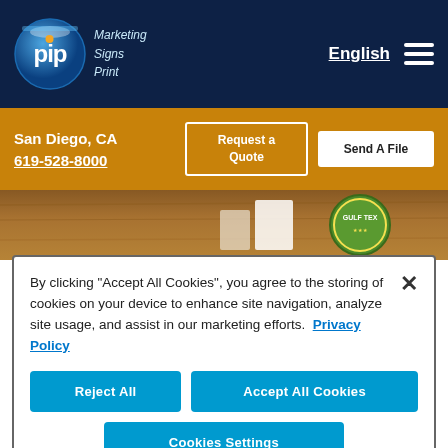[Figure (logo): PIP Marketing Signs Print logo — blue circle with white 'pip' text and orange dot, next to italic text 'Marketing Signs Print']
English
San Diego, CA
619-528-8000
Request a Quote
Send A File
[Figure (photo): Partial view of printed materials on a wooden table, including a circular embroidered patch with 'GULF TEX' branding]
By clicking “Accept All Cookies”, you agree to the storing of cookies on your device to enhance site navigation, analyze site usage, and assist in our marketing efforts.  Privacy Policy
Reject All
Accept All Cookies
Cookies Settings